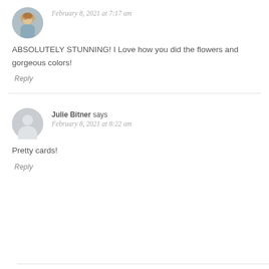[Figure (photo): Small circular photo avatar of a blonde woman]
February 8, 2021 at 7:17 am
ABSOLUTELY STUNNING! I Love how you did the flowers and gorgeous colors!
Reply
[Figure (illustration): Generic grey placeholder avatar with person silhouette]
Julie Bitner says
February 8, 2021 at 8:22 am
Pretty cards!
Reply